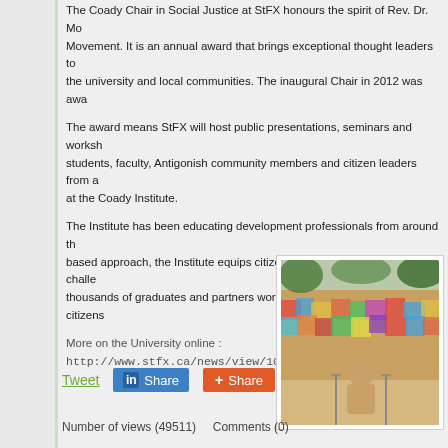The Coady Chair in Social Justice at StFX honours the spirit of Rev. Dr. Mo... Movement. It is an annual award that brings exceptional thought leaders to the university and local communities. The inaugural Chair in 2012 was awa...
The award means StFX will host public presentations, seminars and worksh... students, faculty, Antigonish community members and citizen leaders from a... at the Coady Institute.
The Institute has been educating development professionals from around th... based approach, the Institute equips citizen leaders to address global challe... thousands of graduates and partners working to improve the lives of citizens...
More on the University online : http://www.stfx.ca/news/view/10666/
[Figure (photo): A speaker addressing a large crowd from a stage, viewed from behind, with colorful crowd in outdoor setting.]
Tweet   Share   Share
Number of views (49511)   Comments (0)